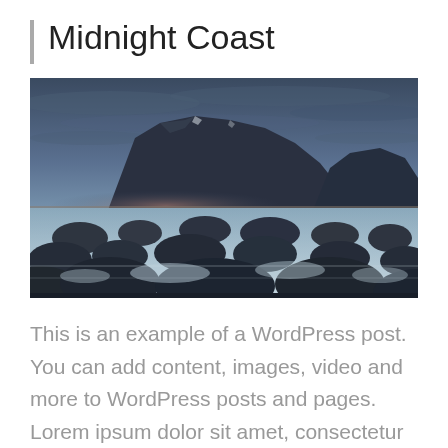Midnight Coast
[Figure (photo): Long-exposure coastal landscape photo at dusk showing dark rocky boulders in shallow water with silky smooth water effect, dramatic mountain cliff in the background under a moody blue-grey overcast sky.]
This is an example of a WordPress post. You can add content, images, video and more to WordPress posts and pages. Lorem ipsum dolor sit amet, consectetur adipiscing elit. Sed nec feugiat libero. Aenean ligula justo, mollis in accumsan eu, dapibus sed nunc.